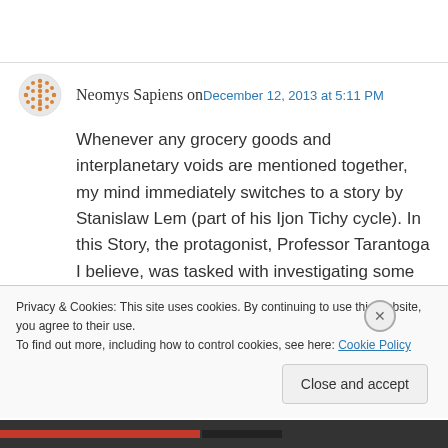Neomys Sapiens on December 12, 2013 at 5:11 PM
Whenever any grocery goods and interplanetary voids are mentioned together, my mind immediately switches to a story by Stanislaw Lem (part of his Ijon Tichy cycle). In this Story, the protagonist, Professor Tarantoga I believe, was tasked with investigating some mysterious attacks on spacefaring vessels originating from
Privacy & Cookies: This site uses cookies. By continuing to use this website, you agree to their use.
To find out more, including how to control cookies, see here: Cookie Policy
Close and accept